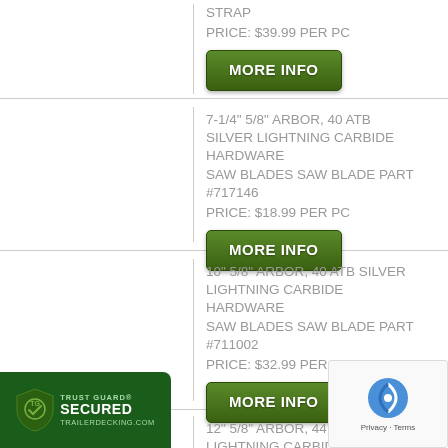STRAP
PRICE: $39.99 PER PC
[Figure (other): MORE INFO button (green)]
7-1/4" 5/8" ARBOR, 40 ATB SILVER LIGHTNING CARBIDE HARDWARE SAW BLADES SAW BLADE PART #717146
PRICE: $18.99 PER PC
[Figure (other): MORE INFO button (green)]
10" 5/8" ARBOR, 40 ATB SILVER LIGHTNING CARBIDE HARDWARE SAW BLADES SAW BLADE PART #711002
PRICE: $32.99 PER PC
[Figure (other): MORE INFO button (green)]
12" 5/8" ARBOR, 44 ATB SILVER LIGHTNING CARBIDE HARDWARE SAW BLADES SAW BLADE PART #711201
PRICE: $42.99 PER PC
[Figure (logo): Trust Guard Secured badge - TrailerDecking.com]
[Figure (other): reCAPTCHA widget overlay]